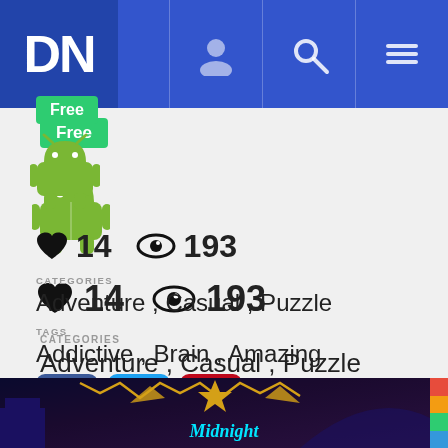DN (logo) — navigation bar with user, search, and menu icons
Free
[Figure (logo): Android robot icon (green)]
♥ 14   👁 193
CATEGORIES
Adventure , Casual , Puzzle
TAGS
Addictive , Brain , Amazing
[Figure (infographic): Facebook, Twitter, Pinterest social share buttons]
[Figure (photo): Bottom banner image showing 'Midnight' game with colorful casino/amusement park scene]